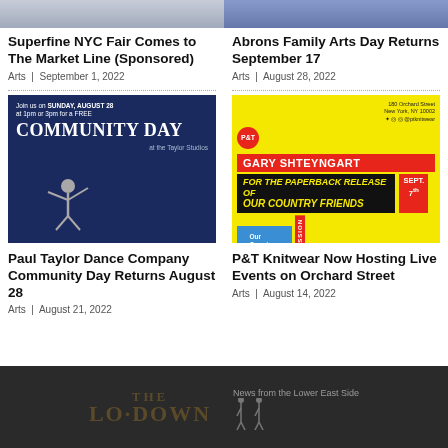[Figure (photo): Top half of two article thumbnail images cropped]
Superfine NYC Fair Comes to The Market Line (Sponsored)
Arts | September 1, 2022
Abrons Family Arts Day Returns September 17
Arts | August 28, 2022
[Figure (photo): Paul Taylor Dance Company Community Day event flyer with dancer on blue background]
[Figure (photo): P&T Knitwear event poster for Gary Shteyngart paperback release on yellow background]
Paul Taylor Dance Company Community Day Returns August 28
Arts | August 21, 2022
P&T Knitwear Now Hosting Live Events on Orchard Street
Arts | August 14, 2022
THE LO·DOWN  News from the Lower East Side